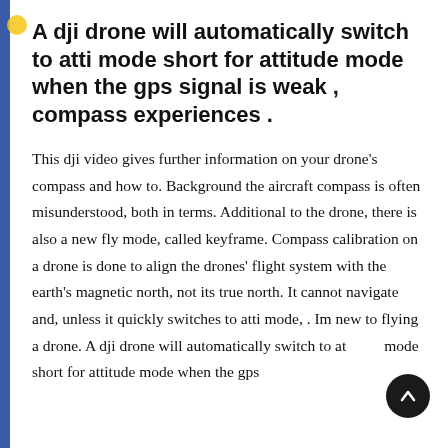A dji drone will automatically switch to atti mode short for attitude mode when the gps signal is weak , compass experiences .
This dji video gives further information on your drone's compass and how to. Background the aircraft compass is often misunderstood, both in terms. Additional to the drone, there is also a new fly mode, called keyframe. Compass calibration on a drone is done to align the drones' flight system with the earth's magnetic north, not its true north. It cannot navigate and, unless it quickly switches to atti mode, . Im new to flying a drone. A dji drone will automatically switch to atti mode short for attitude mode when the gps